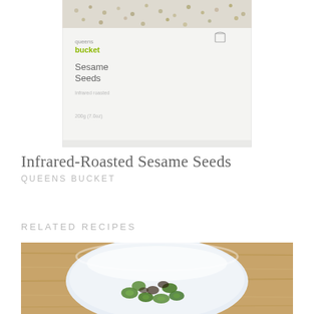[Figure (photo): Queens Bucket product package of Infrared-Roasted Sesame Seeds, 200g, shown against white background]
Infrared-Roasted Sesame Seeds
QUEENS BUCKET
RELATED RECIPES
[Figure (photo): A white bowl containing a salad with cucumber slices and dark ingredients (possibly mushrooms or seaweed), placed on a wooden surface]